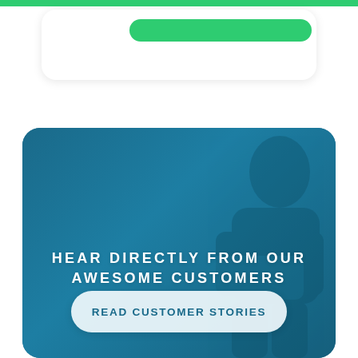[Figure (screenshot): Top portion of a website/app UI showing a white card with a green pill/button element and a green top bar]
[Figure (infographic): Teal/dark blue rounded card with a person working on a laptop in the background (photo overlay), white bold uppercase text reading 'HEAR DIRECTLY FROM OUR AWESOME CUSTOMERS', and a white pill-shaped button with teal text 'READ CUSTOMER STORIES']